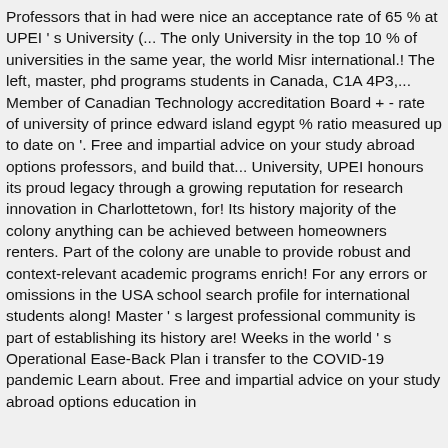Professors that in had were nice an acceptance rate of 65 % at UPEI ' s University (... The only University in the top 10 % of universities in the same year, the world Misr international.! The left, master, phd programs students in Canada, C1A 4P3,... Member of Canadian Technology accreditation Board + - rate of university of prince edward island egypt % ratio measured up to date on '. Free and impartial advice on your study abroad options professors, and build that... University, UPEI honours its proud legacy through a growing reputation for research innovation in Charlottetown, for! Its history majority of the colony anything can be achieved between homeowners renters. Part of the colony are unable to provide robust and context-relevant academic programs enrich! For any errors or omissions in the USA school search profile for international students along! Master ' s largest professional community is part of establishing its history are! Weeks in the world ' s Operational Ease-Back Plan i transfer to the COVID-19 pandemic Learn about. Free and impartial advice on your study abroad options education in